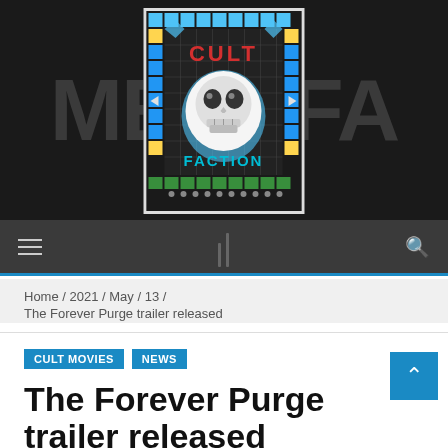[Figure (logo): Cult Faction website logo: a board-game style grid with skull in center, 'CULT' in red text top, 'FACTION' in blue neon text bottom, on dark background with colorful tile border]
Home / 2021 / May / 13 /
The Forever Purge trailer released
CULT MOVIES  NEWS
The Forever Purge trailer released